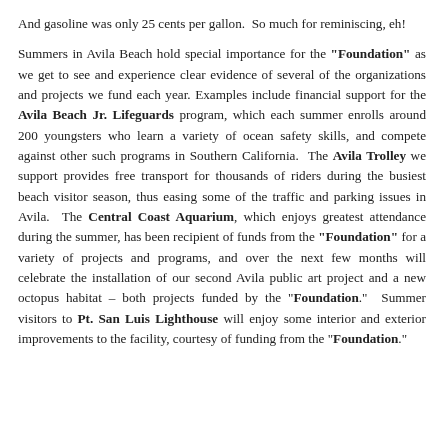And gasoline was only 25 cents per gallon.  So much for reminiscing, eh!
Summers in Avila Beach hold special importance for the "Foundation" as we get to see and experience clear evidence of several of the organizations and projects we fund each year. Examples include financial support for the Avila Beach Jr. Lifeguards program, which each summer enrolls around 200 youngsters who learn a variety of ocean safety skills, and compete against other such programs in Southern California. The Avila Trolley we support provides free transport for thousands of riders during the busiest beach visitor season, thus easing some of the traffic and parking issues in Avila. The Central Coast Aquarium, which enjoys greatest attendance during the summer, has been recipient of funds from the "Foundation" for a variety of projects and programs, and over the next few months will celebrate the installation of our second Avila public art project and a new octopus habitat – both projects funded by the "Foundation." Summer visitors to Pt. San Luis Lighthouse will enjoy some interior and exterior improvements to the facility, courtesy of funding from the "Foundation."